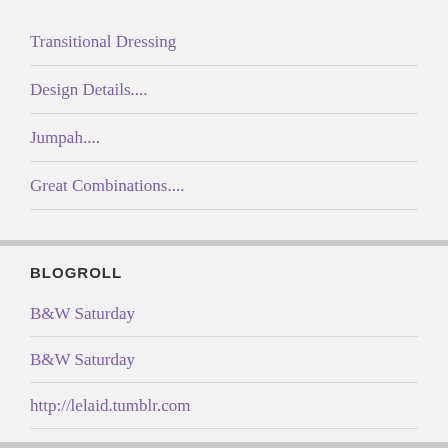Transitional Dressing
Design Details....
Jumpah....
Great Combinations....
BLOGROLL
B&W Saturday
B&W Saturday
http://lelaid.tumblr.com
http://lelaid.tumblr.com